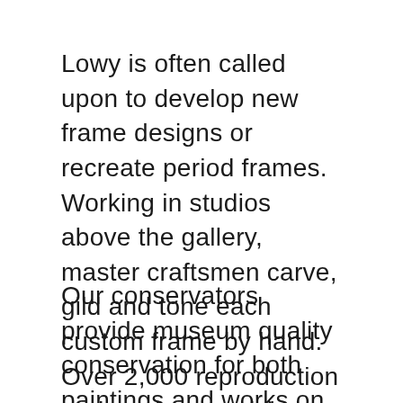Lowy is often called upon to develop new frame designs or recreate period frames. Working in studios above the gallery, master craftsmen carve, gild and tone each custom frame by hand. Over 2,000 reproduction and modern models are available.
Our conservators provide museum quality conservation for both paintings and works on paper. Remedying the deleterious effects of the environment and improper